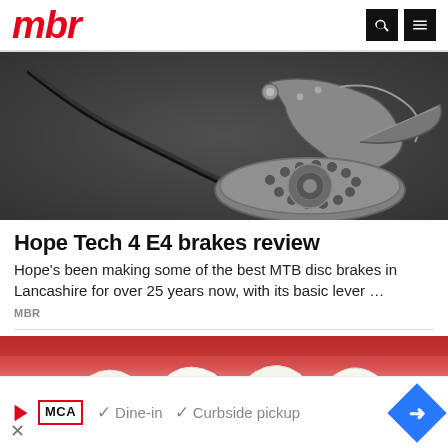mbr
[Figure (photo): Close-up photo of mountain bike disc brake components including brake lever, hydraulic line, and perforated disc rotor on a dark grey surface]
Hope Tech 4 E4 brakes review
Hope's been making some of the best MTB disc brakes in Lancashire for over 25 years now, with its basic lever …
MBR
[Figure (photo): Close-up macro photo of human teeth with dental braces/retainer wire visible against pink gum tissue]
[Figure (screenshot): Advertisement bar showing MCA logo with play button, checkmarks next to 'Dine-in' and 'Curbside pickup' text, and a blue diamond-shaped arrow icon on the right]